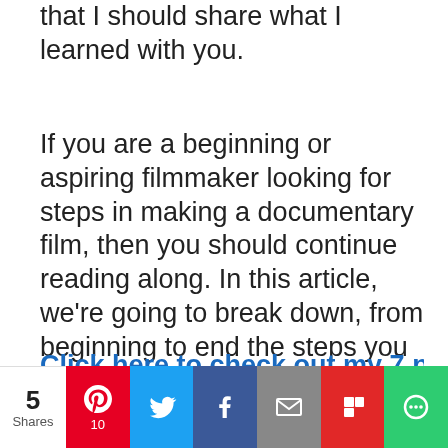that I should share what I learned with you.
If you are a beginning or aspiring filmmaker looking for steps in making a documentary film, then you should continue reading along. In this article, we’re going to break down, from beginning to end the steps you need to undertake to make a documentary film.
Click here to check out my 7 part
Privacy & Cookies: This site uses cookies. By continuing to use this website, you agree to their use.
To find out more, including how to control cookies, see here:
Cookie Policy
5 Shares | Pinterest 10 | Twitter | Facebook | Email | Flipboard | More